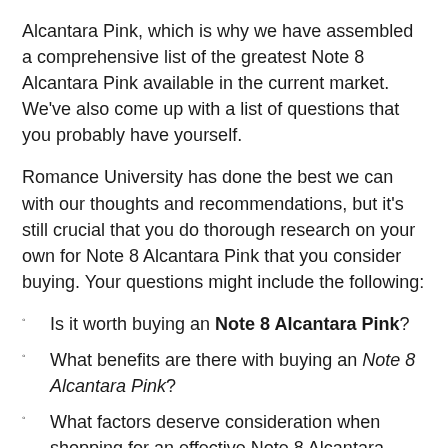Alcantara Pink, which is why we have assembled a comprehensive list of the greatest Note 8 Alcantara Pink available in the current market. We've also come up with a list of questions that you probably have yourself.
Romance University has done the best we can with our thoughts and recommendations, but it's still crucial that you do thorough research on your own for Note 8 Alcantara Pink that you consider buying. Your questions might include the following:
Is it worth buying an Note 8 Alcantara Pink?
What benefits are there with buying an Note 8 Alcantara Pink?
What factors deserve consideration when shopping for an effective Note 8 Alcantara Pink?
Why is it crucial to invest in any Note 8 Alcantara